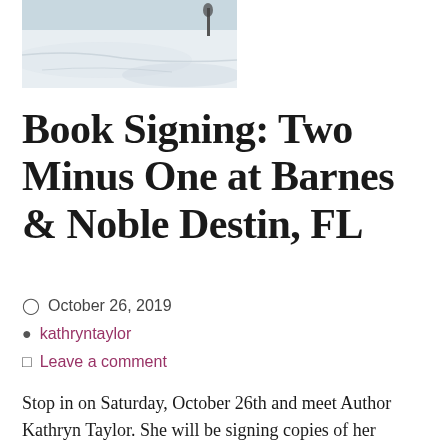[Figure (photo): A winter snow scene photo, partially visible, showing a snowy landscape with a figure or tree in the background.]
Book Signing: Two Minus One at Barnes & Noble Destin, FL
October 26, 2019
kathryntaylor
Leave a comment
Stop in on Saturday, October 26th and meet Author Kathryn Taylor. She will be signing copies of her